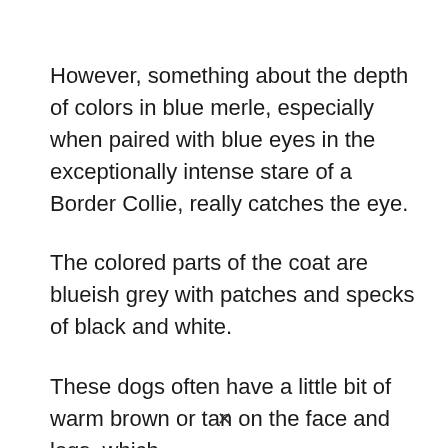However, something about the depth of colors in blue merle, especially when paired with blue eyes in the exceptionally intense stare of a Border Collie, really catches the eye.
The colored parts of the coat are blueish grey with patches and specks of black and white.
These dogs often have a little bit of warm brown or tan on the face and legs, which